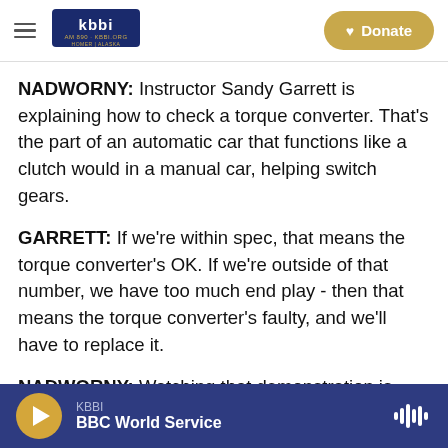KBBI AM 890 · KBBI.ORG Homer Alaska — Donate
NADWORNY: Instructor Sandy Garrett is explaining how to check a torque converter. That's the part of an automatic car that functions like a clutch would in a manual car, helping switch gears.
GARRETT: If we're within spec, that means the torque converter's OK. If we're outside of that number, we have too much end play - then that means the torque converter's faulty, and we'll have to replace it.
NADWORNY: Watching that demonstration is
KBBI — BBC World Service